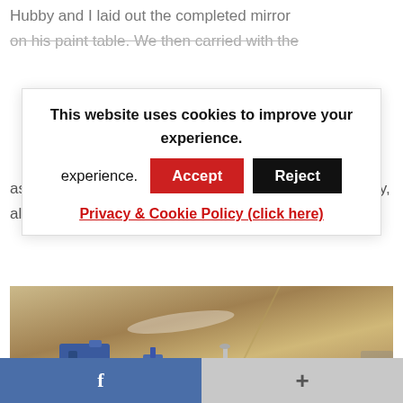Hubby and I laid out the completed mirror on his paint table. We then carried with the
as possible. We waited overnight for it to dry completely, although it was probably dry after just a few hours.
This website uses cookies to improve your experience.  Accept  Reject
Privacy & Cookie Policy (click here)
[Figure (photo): Photo of a mirror or craft project laid on a table, with blue clamp/tool and nail visible]
f   +